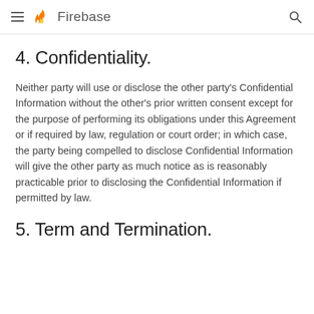Firebase
4. Confidentiality.
Neither party will use or disclose the other party's Confidential Information without the other's prior written consent except for the purpose of performing its obligations under this Agreement or if required by law, regulation or court order; in which case, the party being compelled to disclose Confidential Information will give the other party as much notice as is reasonably practicable prior to disclosing the Confidential Information if permitted by law.
5. Term and Termination.